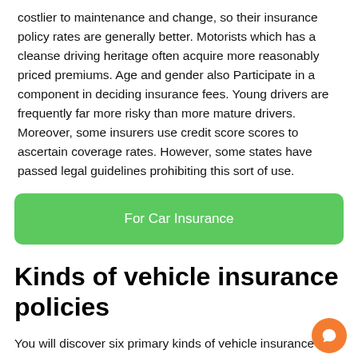costlier to maintenance and change, so their insurance policy rates are generally better. Motorists which has a cleanse driving heritage often acquire more reasonably priced premiums. Age and gender also Participate in a component in deciding insurance fees. Young drivers are frequently far more risky than more mature drivers. Moreover, some insurers use credit score scores to ascertain coverage rates. However, some states have passed legal guidelines prohibiting this sort of use.
[Figure (other): Green rounded rectangle button labeled 'For Car Insurance']
Kinds of vehicle insurance policies
You will discover six primary kinds of vehicle insurance